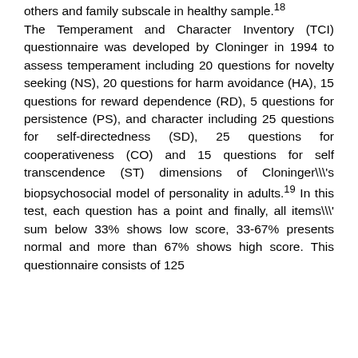others and family subscale in healthy sample.18 The Temperament and Character Inventory (TCI) questionnaire was developed by Cloninger in 1994 to assess temperament including 20 questions for novelty seeking (NS), 20 questions for harm avoidance (HA), 15 questions for reward dependence (RD), 5 questions for persistence (PS), and character including 25 questions for self-directedness (SD), 25 questions for cooperativeness (CO) and 15 questions for self transcendence (ST) dimensions of Cloninger\'s biopsychosocial model of personality in adults.19 In this test, each question has a point and finally, all items\' sum below 33% shows low score, 33-67% presents normal and more than 67% shows high score. This questionnaire consists of 125